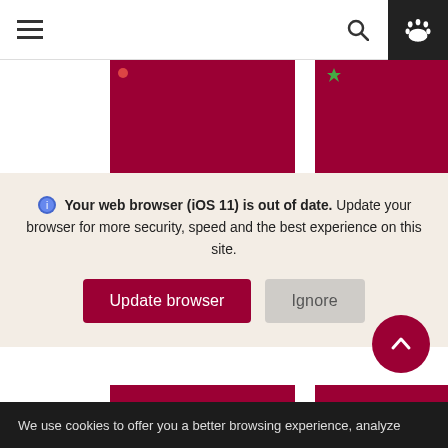[Figure (screenshot): Navigation bar with hamburger menu icon on left, search icon and paw print icon on right (dark background)]
[Figure (screenshot): Dark red/crimson card image area at top left of page]
[Figure (screenshot): Dark red/crimson card image area at top right of page (partially visible)]
🌐 Your web browser (iOS 11) is out of date. Update your browser for more security, speed and the best experience on this site.
Update browser
Ignore
[Figure (screenshot): Dark red card with white bold text: Tabula Poetica on YouTube]
[Figure (screenshot): Dark red card with white bold text: Poet... Serie... (partially visible)]
Tabula Poetica
We use cookies to offer you a better browsing experience, analyze